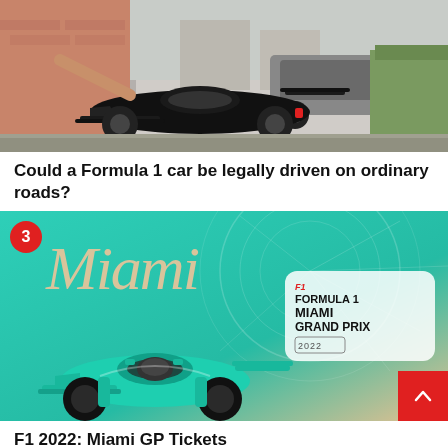[Figure (photo): A black Formula 1 car seen from the front, on a residential street, with a person's arm extended touching the car. Brick buildings and hedges in background.]
Could a Formula 1 car be legally driven on ordinary roads?
[Figure (photo): Promotional graphic for F1 2022 Miami Grand Prix. Teal/turquoise background with palm leaf patterns. Large italic 'Miami' text in beige. A teal Formula 1 car from bird's-eye view. Red number '3' badge top left. White rounded box with F1 logo and text 'FORMULA 1 MIAMI GRAND PRIX 2022'. Red scroll-up button bottom right.]
F1 2022: Miami GP Tickets